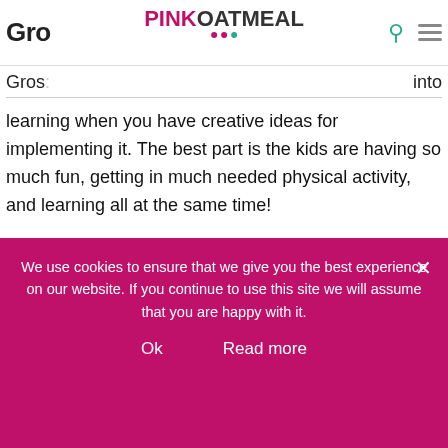Pink Oatmeal
Gros… into learning when you have creative ideas for implementing it. The best part is the kids are having so much fun, getting in much needed physical activity, and learning all at the same time!
Alphabet Yoga– Someone brand new to yoga to the seasoned yogi will love these fun ways to move and learn about the alphabet.
We use cookies to ensure that we give you the best experience on our website. If you continue to use this site we will assume that you are happy with it.